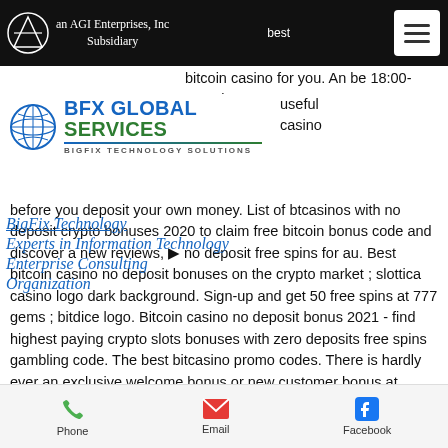[Figure (logo): AGI Enterprises Inc navigation header with logo, company name 'an AGI Enterprises, Inc Subsidiary', hamburger menu button]
[Figure (logo): BFX Global Services / BigFix Technology Solutions logo with globe icon, blue and green text, underline, subtitle]
bitcoin casino for you. An be 18:00-18:00but
useful casino before you deposit your own money. List of btcasinos with no deposit crypto bonuses 2020 to claim free bitcoin bonus code and discover a new reviews, no deposit free spins for au. Best bitcoin casino no deposit bonuses on the crypto market ; slottica casino logo dark background. Sign-up and get 50 free spins at 777 gems ; bitdice logo. Bitcoin casino no deposit bonus 2021 - find highest paying crypto slots bonuses with zero deposits free spins gambling code. The best bitcasino promo codes. There is hardly ever an exclusive welcome bonus or new customer bonus at bitcoin casino. If at all, btc
BigFix Technology Solutions
Experts in Information Technology
Enterprise Consulting
Organization
Phone   Email   Facebook